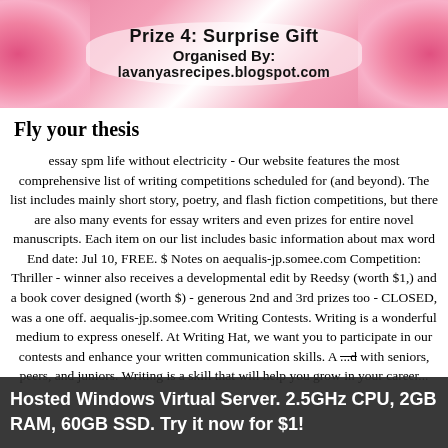[Figure (illustration): Banner image with pink flowers on left and right sides, white oval center with bold text: 'Prize 4: Surprise Gift', 'Organised By:', 'lavanyasrecipes.blogspot.com']
Fly your thesis
essay spm life without electricity - Our website features the most comprehensive list of writing competitions scheduled for (and beyond). The list includes mainly short story, poetry, and flash fiction competitions, but there are also many events for essay writers and even prizes for entire novel manuscripts. Each item on our list includes basic information about max word End date: Jul 10, FREE. $ Notes on aequalis-jp.somee.com Competition: Thriller - winner also receives a developmental edit by Reedsy (worth $1,) and a book cover designed (worth $) - generous 2nd and 3rd prizes too - CLOSED, was a one off. aequalis-jp.somee.com Writing Contests. Writing is a wonderful medium to express oneself. At Writing Hat, we want you to participate in our contests and enhance your written communication skills. A ...d with seniors, peers, and juniors. Writing is a skill that will help you grow in your career...
Hosted Windows Virtual Server. 2.5GHz CPU, 2GB RAM, 60GB SSD. Try it now for $1!